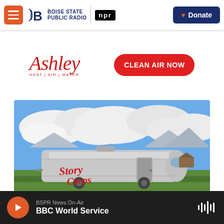Boise State Public Radio | NPR — Donate
[Figure (logo): Ashley Heat Air Water logo with red script text and tagline, alongside a red rounded button reading CLEAN AIR NOW]
[Figure (photo): A silver Airstream trailer with 'StoryCorps' written in red cursive script, parked in a green field with mountains and dramatic clouds in the background]
BSPR News On-Air — BBC World Service (audio player bar)